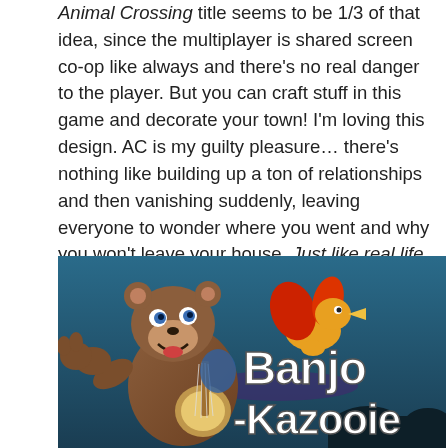Animal Crossing title seems to be 1/3 of that idea, since the multiplayer is shared screen co-op like always and there's no real danger to the player. But you can craft stuff in this game and decorate your town! I'm loving this design. AC is my guilty pleasure… there's nothing like building up a ton of relationships and then vanishing suddenly, leaving everyone to wonder where you went and why you won't leave your house. Just like real life.
More info here: https://mashable.com/article/animal-crossing-new-horizons-reactions
[Figure (screenshot): Screenshot of Banjo-Kazooie characters from Super Smash Bros. Banjo the bear and Kazooie the bird are shown on the left against a teal/dark background with the text 'Banjo -Kazooie' displayed in large stylized white font.]